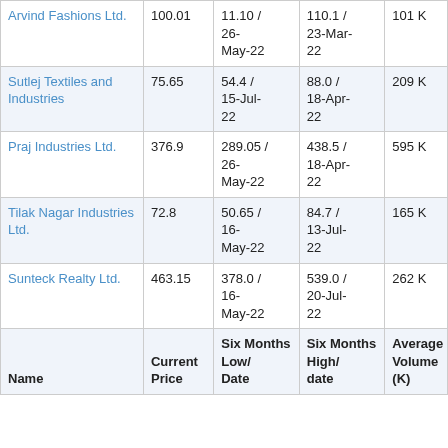| Name | Current Price | Six Months Low/Date | Six Months High/date | Average Volume (K) |
| --- | --- | --- | --- | --- |
| Arvind Fashions Ltd. | 100.01 | 11.10 / 26-May-22 | 110.1 / 23-Mar-22 | 101 K |
| Sutlej Textiles and Industries | 75.65 | 54.4 / 15-Jul-22 | 88.0 / 18-Apr-22 | 209 K |
| Praj Industries Ltd. | 376.9 | 289.05 / 26-May-22 | 438.5 / 18-Apr-22 | 595 K |
| Tilak Nagar Industries Ltd. | 72.8 | 50.65 / 16-May-22 | 84.7 / 13-Jul-22 | 165 K |
| Sunteck Realty Ltd. | 463.15 | 378.0 / 16-May-22 | 539.0 / 20-Jul-22 | 262 K |